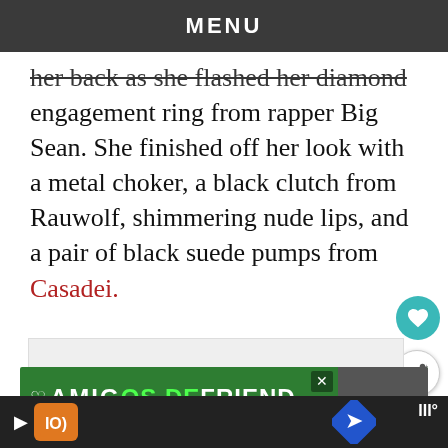MENU
her back as she flashed her diamond engagement ring from rapper Big Sean. She finished off her look with a metal choker, a black clutch from Rauwolf, shimmering nude lips, and a pair of black suede pumps from Casadei.
[Figure (screenshot): Advertisement banner with green background showing partial text, with close button and dog image]
[Figure (screenshot): Bottom navigation bar with play button, logo, and blue diamond navigation arrow]